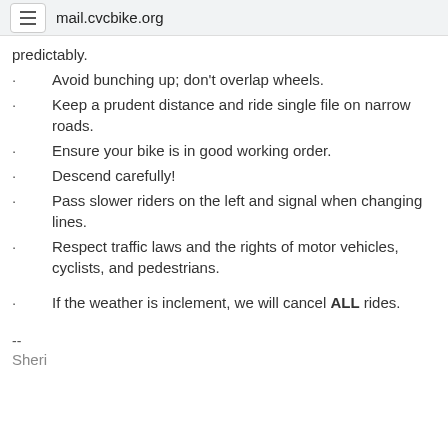mail.cvcbike.org
predictably.
Avoid bunching up; don't overlap wheels.
Keep a prudent distance and ride single file on narrow roads.
Ensure your bike is in good working order.
Descend carefully!
Pass slower riders on the left and signal when changing lines.
Respect traffic laws and the rights of motor vehicles, cyclists, and pedestrians.
If the weather is inclement, we will cancel ALL rides.
--
Sheri